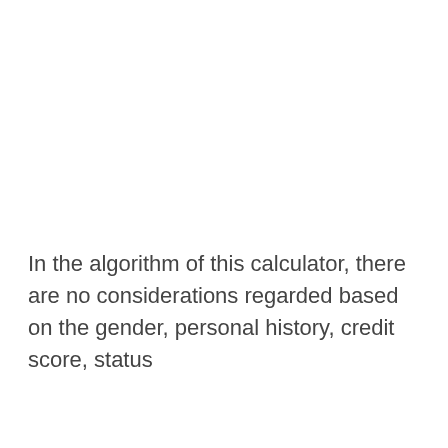In the algorithm of this calculator, there are no considerations regarded based on the gender, personal history, credit score, status